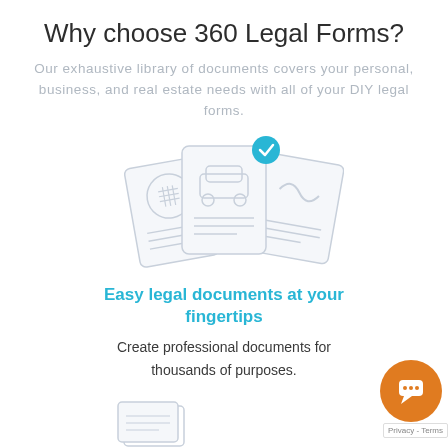Why choose 360 Legal Forms?
Our exhaustive library of documents covers your personal, business, and real estate needs with all of your DIY legal forms.
[Figure (illustration): Three overlapping document cards with icons: a clipboard/list icon, a car icon (center, with blue checkmark), and a heartbeat/ECG icon]
Easy legal documents at your fingertips
Create professional documents for thousands of purposes.
[Figure (illustration): Partial illustration of stacked documents/box at the bottom of the page]